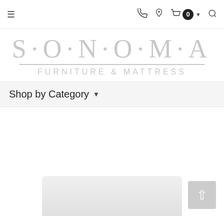[Figure (screenshot): Website navigation bar with hamburger menu icon, phone icon, location pin icon, shopping cart with badge showing 0 items, dropdown arrow, and search icon]
[Figure (logo): Sonoma Furniture & Mattress logo in light gray. Large letters reading S·O·N·O·M·A with a horizontal rule beneath, then FURNITURE & MATTRESS in spaced capitals]
Shop by Category ▾
[Figure (photo): Partial view of a white mattress or furniture piece at the bottom of the page, with a back-to-top arrow button in the bottom right corner]